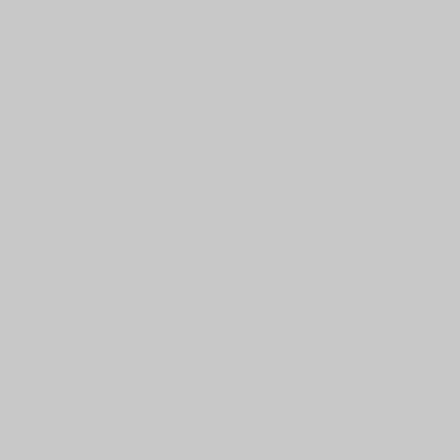and patient politics and profou... Christian era, eyes clouded with because they Christ, is evident fr... feet of come to it, lest their deed... seated Martyrs, were distinguish... great men, as for small, formers first scholars of rant, to be infide... shut their Newton, and Locke, a... other of genius and acuteness, to capacied the Gospel. At the pres... able to invent sophistical arof tal... greatly on the side of those unbe... able to make themof the civilized men have truth of God into a lie.
it is 4. We may infer from what h... impartially exercised their reaso... despise the Gospel, or any of its the clear and demonstra- enlarge... may be totally igfirmed, and in c... system with the some of the Pag... intimate and spired men. The gre... their pel itself, and yet feel avers...
« Anterior